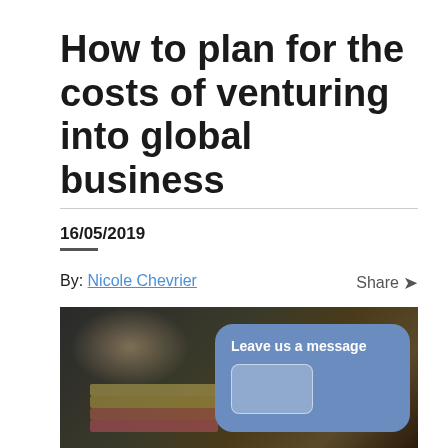How to plan for the costs of venturing into global business
16/05/2019
By: Nicole Chevrier
Share
[Figure (photo): Close-up photo of a hand holding a large stack of colourful banknotes against a dark background, with a blue chat widget overlay reading 'Leave us a message']